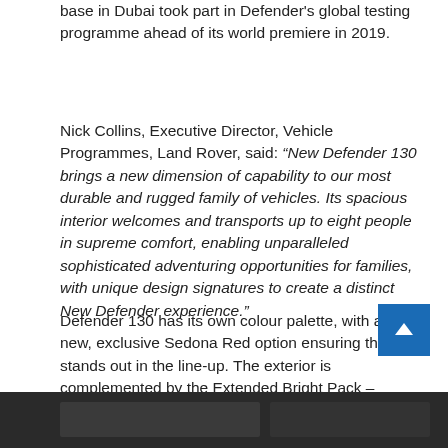base in Dubai took part in Defender's global testing programme ahead of its world premiere in 2019.
Nick Collins, Executive Director, Vehicle Programmes, Land Rover, said: “New Defender 130 brings a new dimension of capability to our most durable and rugged family of vehicles. Its spacious interior welcomes and transports up to eight people in supreme comfort, enabling unparalleled sophisticated adventuring opportunities for families, with unique design signatures to create a distinct New Defender experience.”
Defender 130 has its own colour palette, with a new, exclusive Sedona Red option ensuring the 130 stands out in the line-up. The exterior is complemented by the Extended Bright Pack – available in addition to the existing Bright Pack – which provides a distinct exterior design with Ceres Silver Satin finish around all lower body cladding and front and rear skid plates in Noble Chrome.
[Figure (photo): Dark partial view of a vehicle at the bottom of the page]